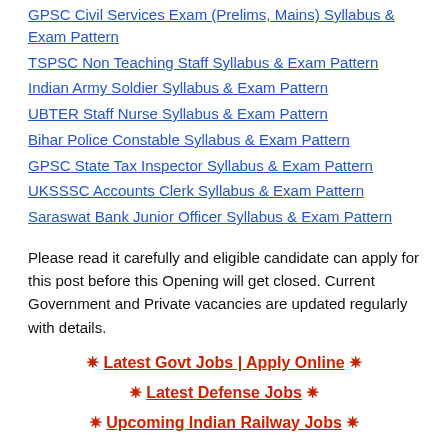GPSC Civil Services Exam (Prelims, Mains) Syllabus & Exam Pattern
TSPSC Non Teaching Staff Syllabus & Exam Pattern
Indian Army Soldier Syllabus & Exam Pattern
UBTER Staff Nurse Syllabus & Exam Pattern
Bihar Police Constable Syllabus & Exam Pattern
GPSC State Tax Inspector Syllabus & Exam Pattern
UKSSSC Accounts Clerk Syllabus & Exam Pattern
Saraswat Bank Junior Officer Syllabus & Exam Pattern
Please read it carefully and eligible candidate can apply for this post before this Opening will get closed. Current Government and Private vacancies are updated regularly with details.
✪ Latest Govt Jobs | Apply Online ✪
✪ Latest Defense Jobs ✪
✪ Upcoming Indian Railway Jobs ✪